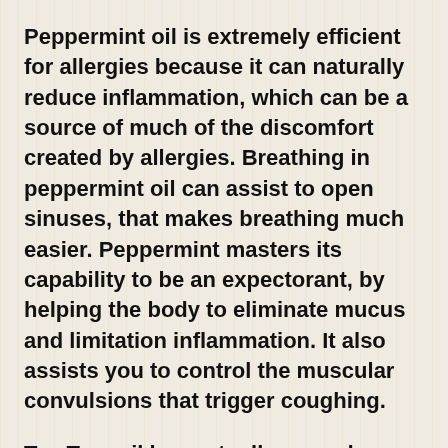Peppermint oil is extremely efficient for allergies because it can naturally reduce inflammation, which can be a source of much of the discomfort created by allergies. Breathing in peppermint oil can assist to open sinuses, that makes breathing much easier. Peppermint masters its capability to be an expectorant, by helping the body to eliminate mucus and limitation inflammation. It also assists you to control the muscular convulsions that trigger coughing.
Tea Tree oil has actually earned a track record for being among the biggest essential oils because it is excellent at damaging many of the pathogens that cause health problem. This amazing vital oil also has powerful